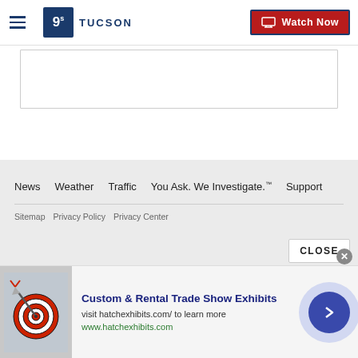9NEWS Tucson — Watch Now
[Figure (screenshot): Empty content box placeholder area below navigation header]
News  Weather  Traffic  You Ask. We Investigate.™  Support  |  Sitemap  Privacy Policy  Privacy Center
CLOSE
[Figure (photo): Advertisement banner: Custom & Rental Trade Show Exhibits — visit hatchexhibits.com/ to learn more — www.hatchexhibits.com — with dartboard image and blue arrow button]